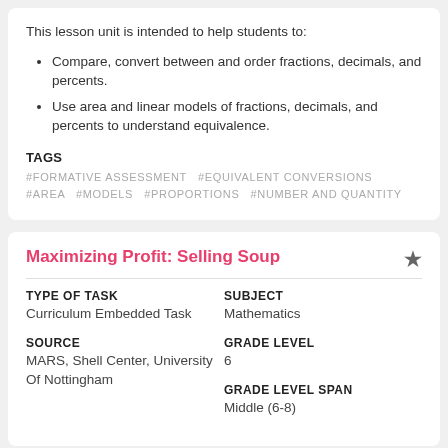This lesson unit is intended to help students to:
Compare, convert between and order fractions, decimals, and percents.
Use area and linear models of fractions, decimals, and percents to understand equivalence.
TAGS
#FORMATIVE ASSESSMENT  #EQUIVALENT CONVERSIONS  #AREA  #MODELS  #PROPORTIONS  #NUMBER AND QUANTITY
Maximizing Profit: Selling Soup
TYPE OF TASK
Curriculum Embedded Task
SUBJECT
Mathematics
SOURCE
MARS, Shell Center, University Of Nottingham
GRADE LEVEL
6
GRADE LEVEL SPAN
Middle (6-8)